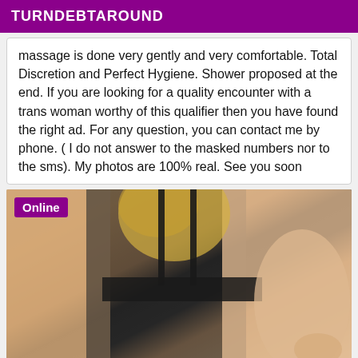TURNDEBTAROUND
massage is done very gently and very comfortable. Total Discretion and Perfect Hygiene. Shower proposed at the end. If you are looking for a quality encounter with a trans woman worthy of this qualifier then you have found the right ad. For any question, you can contact me by phone. ( I do not answer to the masked numbers nor to the sms). My photos are 100% real. See you soon
[Figure (photo): Photo with purple Online badge overlay showing a person from behind wearing a black bra]